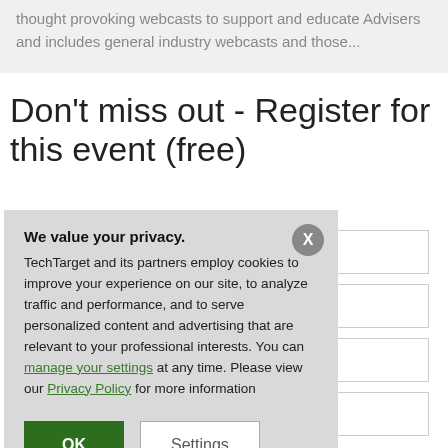thought provoking webcasts to support and educate Advisers and includes general industry webcasts and those...
Don't miss out - Register for this event (free)
We value your privacy.
TechTarget and its partners employ cookies to improve your experience on our site, to analyze traffic and performance, and to serve personalized content and advertising that are relevant to your professional interests. You can manage your settings at any time. Please view our Privacy Policy for more information
OK
Settings